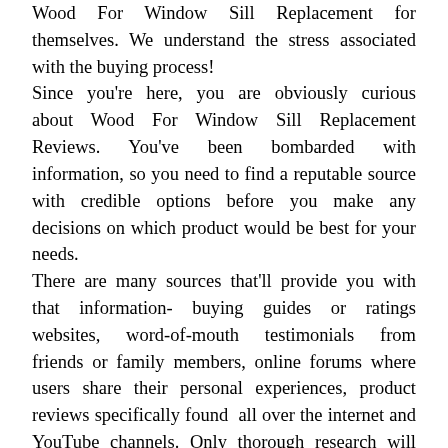Wood For Window Sill Replacement for themselves. We understand the stress associated with the buying process! Since you're here, you are obviously curious about Wood For Window Sill Replacement Reviews. You've been bombarded with information, so you need to find a reputable source with credible options before you make any decisions on which product would be best for your needs. There are many sources that'll provide you with that information- buying guides or ratings websites, word-of-mouth testimonials from friends or family members, online forums where users share their personal experiences, product reviews specifically found all over the internet and YouTube channels. Only thorough research will ensure that you get the right product. But that's not always easy, right? That's where we come in.